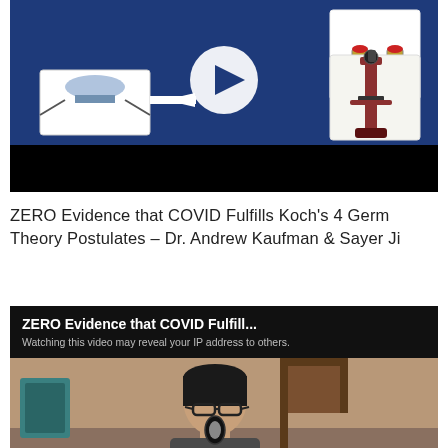[Figure (screenshot): Video thumbnail showing a blue background with scientific equipment (microscope, flasks, diagram with arrows) and a white play button circle in the center, with a black bar at the bottom.]
ZERO Evidence that COVID Fulfills Koch's 4 Germ Theory Postulates – Dr. Andrew Kaufman & Sayer Ji
[Figure (screenshot): Second video embed with black header showing 'ZERO Evidence that COVID Fulfill...' title and 'Watching this video may reveal your IP address to others.' subtitle, with a preview frame showing a person from the shoulders up in front of a wooden door frame.]